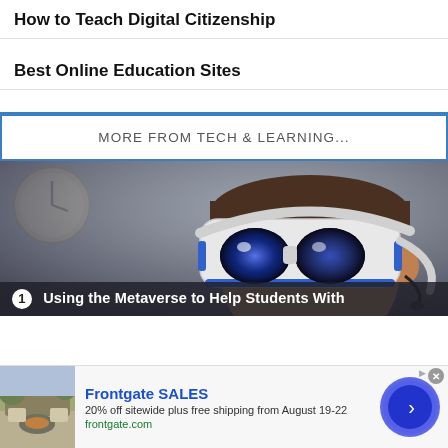How to Teach Digital Citizenship
Best Online Education Sites
MORE FROM TECH & LEARNING...
[Figure (photo): Person wearing a white VR headset with blue light accents, viewed from below against a blurred background with a clock and plant visible.]
1. Using the Metaverse to Help Students With
Frontgate SALES
20% off sitewide plus free shipping from August 19-22
frontgate.com